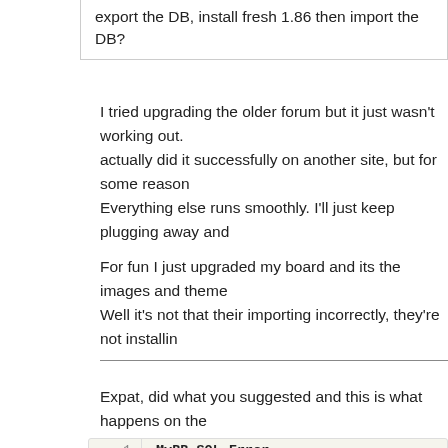export the DB, install fresh 1.86 then import the DB?
I tried upgrading the older forum but it just wasn't working out. I actually did it successfully on another site, but for some reason Everything else runs smoothly. I'll just keep plugging away and
For fun I just upgraded my board and its the images and theme Well it's not that their importing incorrectly, they're not installin
Expat, did what you suggested and this is what happens on the
[Figure (screenshot): Code block showing MyBB SQL Error with line numbers 1-9. Line 1: MyBB SQL Error. Line 3: MyBB has experienced an internal SQL error and. Line 5: SQL Error:. Line 6:     1146 - Table 'c2_kitchen.datacache' doesn't. Line 7: Query:. Line 8:     SELECT title,cache FROM datacache. Line 9: (empty)]